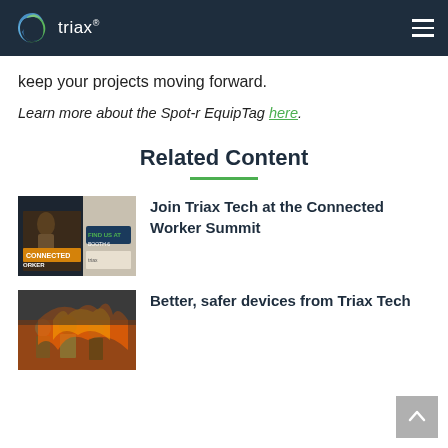triax®
keep your projects moving forward.
Learn more about the Spot-r EquipTag here.
Related Content
[Figure (photo): Thumbnail image showing Connected Worker Summit promotional banner with 'CONNECTED WORKER' and 'FIND US AT BOOTH 6' text]
Join Triax Tech at the Connected Worker Summit
[Figure (photo): Thumbnail image showing firefighters in action]
Better, safer devices from Triax Tech